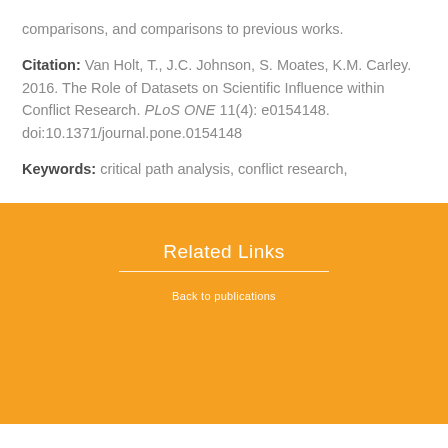comparisons, and comparisons to previous works.
Citation: Van Holt, T., J.C. Johnson, S. Moates, K.M. Carley. 2016. The Role of Datasets on Scientific Influence within Conflict Research. PLoS ONE 11(4): e0154148. doi:10.1371/journal.pone.0154148
Keywords: critical path analysis, conflict research,
Related Links
Back to publications